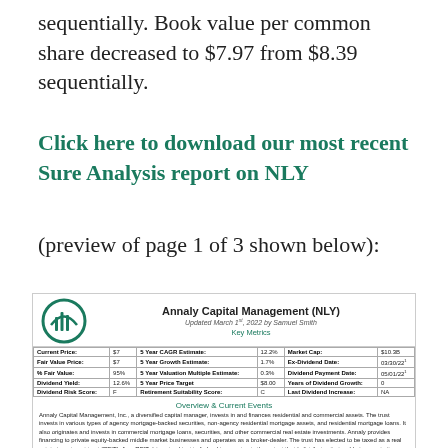sequentially. Book value per common share decreased to $7.97 from $8.39 sequentially.
Click here to download our most recent Sure Analysis report on NLY (preview of page 1 of 3 shown below):
[Figure (infographic): Preview of Sure Analysis report on Annaly Capital Management (NLY). Shows logo, company title, key metrics table (Current Price: $7, Fair Value Price: $7, % Fair Value: 95%, Dividend Yield: 12.6%, Dividend Risk Score: F, 5 Year CAGR Estimate: 12.2%, 5 Year Growth Estimate: 1.7%, 5 Year Valuation Multiple Estimate: 0.3%, 5 Year Price Target: $8.00, Retirement Suitability Score: C, Market Cap: $10.3B, Ex-Dividend Date: 03/30/22, Dividend Payment Date: 05/01/22, Years of Dividend Growth: 0, Last Dividend Increase: NA), Overview & Current Events section with description of Annaly Capital Management Inc.]